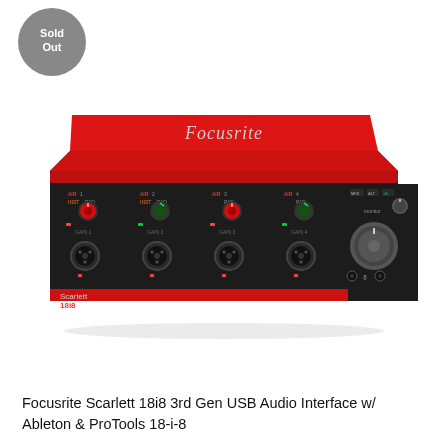[Figure (photo): Sold Out badge - a dark grey circle with white text reading 'Sold Out']
[Figure (photo): Focusrite Scarlett 18i8 3rd Gen USB Audio Interface - red rectangular audio interface device with four XLR/combo inputs with gain knobs, green and red level indicators, large monitor control knob, and headphone outputs on the front panel. The Focusrite logo appears on top in silver script. The device label 'Scarlett 18i8' is visible on the lower-left front panel.]
Focusrite Scarlett 18i8 3rd Gen USB Audio Interface w/ Ableton & ProTools 18-i-8